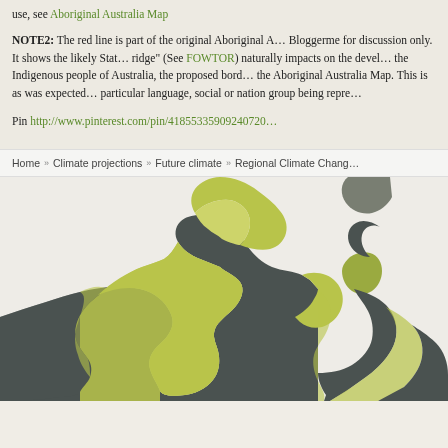use, see Aboriginal Australia Map
NOTE2: The red line is part of the original Aboriginal A... Bloggerme for discussion only. It shows the likely Stat... ridge" (See FOWTOR) naturally impacts on the devel... the Indigenous people of Australia, the proposed bord... the Aboriginal Australia Map. This is as was expected ... particular language, social or nation group being repre...
Pin http://www.pinterest.com/pin/41855335909240720...
Home » Climate projections » Future climate » Regional Climate Chang...
[Figure (map): A map of northern Australia showing regional climate change areas. The map displays a silhouette of Australia's northern region with yellow-green highlighted areas contrasting against dark grey/charcoal colored regions, representing different climate zones or regional groupings.]